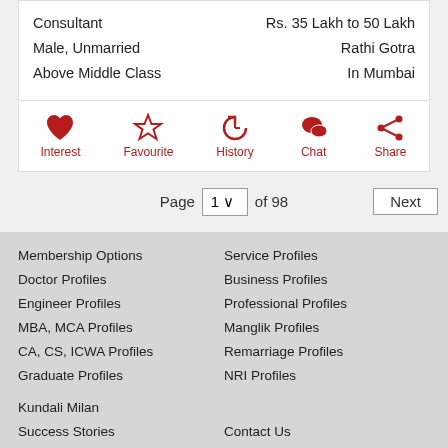Consultant   Rs. 35 Lakh to 50 Lakh
Male, Unmarried   Rathi Gotra
Above Middle Class   In Mumbai
[Figure (infographic): Action icons row: Interest (heart), Favourite (star), History (clock), Chat (speech bubbles), Share (share icon) — all in dark red with labels below]
Page 1 of 98  Next
Membership Options
Service Profiles
Doctor Profiles
Business Profiles
Engineer Profiles
Professional Profiles
MBA, MCA Profiles
Manglik Profiles
CA, CS, ICWA Profiles
Remarriage Profiles
Graduate Profiles
NRI Profiles
Kundali Milan
Success Stories
Contact Us
Share Success Story
About Us
Report Service Issue
FAQ